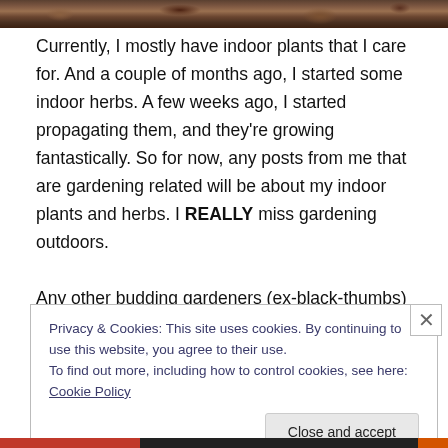[Figure (photo): Top strip showing a garden/outdoor ground scene with leaves and soil]
Currently, I mostly have indoor plants that I care for. And a couple of months ago, I started some indoor herbs. A few weeks ago, I started propagating them, and they're growing fantastically. So for now, any posts from me that are gardening related will be about my indoor plants and herbs. I REALLY miss gardening outdoors.

Any other budding gardeners (ex-black-thumbs) out there? What have you planted lately?
Privacy & Cookies: This site uses cookies. By continuing to use this website, you agree to their use.
To find out more, including how to control cookies, see here: Cookie Policy
Close and accept